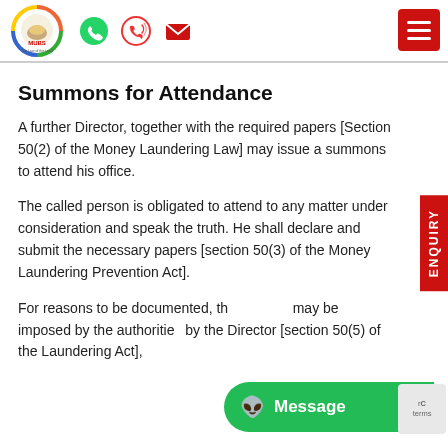MUBS - The Law of the Land [header with logo, WhatsApp, phone, email icons]
Summons for Attendance
A further Director, together with the required papers [Section 50(2) of the Money Laundering Law] may issue a summons to attend his office.
The called person is obligated to attend to any matter under consideration and speak the truth. He shall declare and submit the necessary papers [section 50(3) of the Money Laundering Prevention Act].
For reasons to be documented, the … may be imposed by the authorities … by the Director [section 50(5) of the Laundering Act],